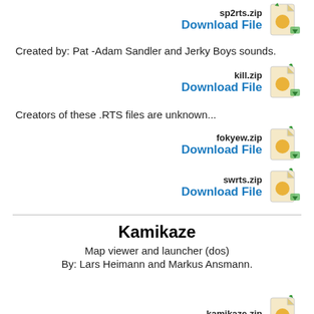[Figure (other): Partial download button for sp2rts.zip at top of page]
Created by: Pat -Adam Sandler and Jerky Boys sounds.
[Figure (other): Download button for kill.zip]
Creators of these .RTS files are unknown...
[Figure (other): Download button for fokyew.zip]
[Figure (other): Download button for swrts.zip]
Kamikaze
Map viewer and launcher (dos)
By: Lars Heimann and Markus Ansmann.
[Figure (other): Partial download button for kamikaze.zip at bottom of page]